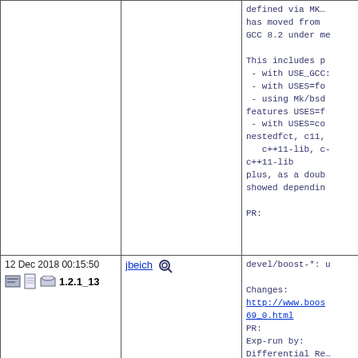| Date/Version | Author | Description |
| --- | --- | --- |
|  |  | defined via MK...
has moved from ...
GCC 8.2 under me...

This includes p...
 - with USE_GCC...
 - with USES=fo...
 - using Mk/bsd...
features USES=f...
 - with USES=co...
nestedfct, c11,...
   c++11-lib, c-...
c++11-lib
plus, as a doub...
showed dependin...

PR: |
| 12 Dec 2018 00:15:50
1.2.1_13 | jbeich | devel/boost-*: u...

Changes:
http://www.boos...
69_0.html
PR:
Exp-run by:
Differential Re...
https://reviews... |
| 11 Dec 2018 22:30:13
1.2.1_12 | tcberner | Update multimed...
graphics/movit... |